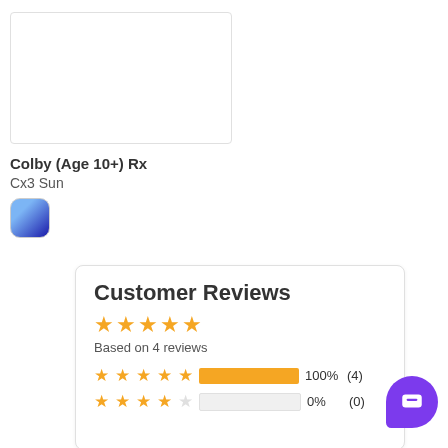[Figure (photo): Product image placeholder — white rectangle with light border]
Colby (Age 10+) Rx
Cx3 Sun
[Figure (illustration): Color swatch — blue gradient rounded square]
Customer Reviews
Based on 4 reviews
100% (4)
0% (0)